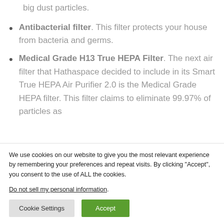big dust particles.
Antibacterial filter. This filter protects your house from bacteria and germs.
Medical Grade H13 True HEPA Filter. The next air filter that Hathaspace decided to include in its Smart True HEPA Air Purifier 2.0 is the Medical Grade HEPA filter. This filter claims to eliminate 99.97% of particles as
We use cookies on our website to give you the most relevant experience by remembering your preferences and repeat visits. By clicking “Accept”, you consent to the use of ALL the cookies.
Do not sell my personal information.